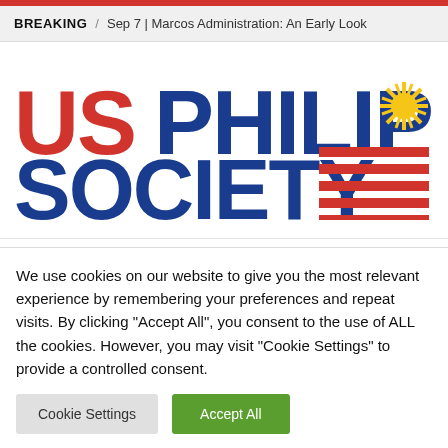BREAKING / Sep 7 | Marcos Administration: An Early Look
[Figure (logo): US Philippines Society logo with bold red 'US' text, blue 'PHILIPPINES SOCIETY' text, a yellow Philippine sun, and red/white horizontal stripes resembling the Philippine flag.]
"The mission of the US-Philippines Society is to build the strongest..."
We use cookies on our website to give you the most relevant experience by remembering your preferences and repeat visits. By clicking "Accept All", you consent to the use of ALL the cookies. However, you may visit "Cookie Settings" to provide a controlled consent.